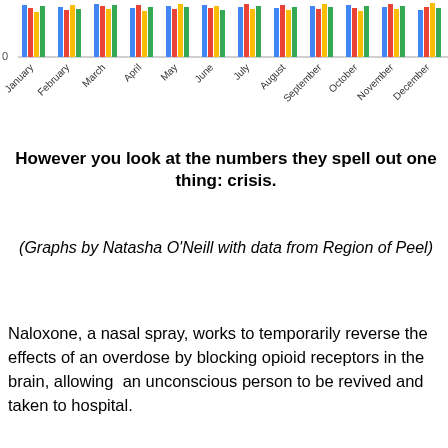[Figure (bar-chart): Grouped colored vertical bars for each month January through December, clipped at top, y-axis showing 0 at bottom]
However you look at the numbers they spell out one thing: crisis.
(Graphs by Natasha O'Neill with data from Region of Peel)
Naloxone, a nasal spray, works to temporarily reverse the effects of an overdose by blocking opioid receptors in the brain, allowing  an unconscious person to be revived and taken to hospital.